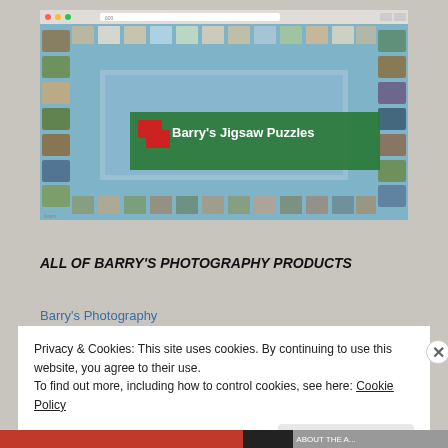[Figure (screenshot): Screenshot of Barry's Jigsaw Puzzles website showing a jigsaw puzzle game interface with scattered puzzle pieces and a green banner overlay reading 'Barry's Jigsaw Puzzles' with a red puzzle piece logo.]
ALL OF BARRY'S PHOTOGRAPHY PRODUCTS
Barry's Photography
Privacy & Cookies: This site uses cookies. By continuing to use this website, you agree to their use.
To find out more, including how to control cookies, see here: Cookie Policy
Close and accept